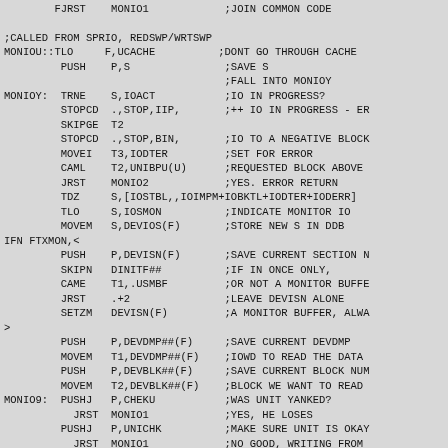FJRST  MONIO1            ;JOIN COMMON CODE

;CALLED FROM SPRIO, REDSWP/WRTSWP
MONIOU::TLO   F,UCACHE          ;DONT GO THROUGH CACHE
        PUSH  P,S               ;SAVE S
                                ;FALL INTO MONIOY
MONIOY: TRNE  S,IOACT           ;IO IN PROGRESS?
        STOPCD .,STOP,IIP,      ;++ IO IN PROGRESS - ER
        SKIPGE T2
        STOPCD .,STOP,BIN,      ;IO TO A NEGATIVE BLOCK
        MOVEI T3,IODTER         ;SET FOR ERROR
        CAML  T2,UNIBPU(U)      ;REQUESTED BLOCK ABOVE 
        JRST  MONIO2            ;YES. ERROR RETURN
        TDZ   S,[IOSTBL,,IOIMPM+IOBKTL+IODTER+IODERR]
        TLO   S,IOSMON          ;INDICATE MONITOR IO
        MOVEM S,DEVIOS(F)       ;STORE NEW S IN DDB
IFN FTXMON,<
        PUSH  P,DEVISN(F)       ;SAVE CURRENT SECTION N
        SKIPN DINITF##          ;IF IN ONCE ONLY,
        CAME  T1,.USMBF         ;OR NOT A MONITOR BUFFE
        JRST  .+2               ;LEAVE DEVISN ALONE
        SETZM DEVISN(F)         ;A MONITOR BUFFER, ALWA
>
        PUSH  P,DEVDMP##(F)     ;SAVE CURRENT DEVDMP
        MOVEM T1,DEVDMP##(F)    ;IOWD TO READ THE DATA
        PUSH  P,DEVBLK##(F)     ;SAVE CURRENT BLOCK NUM
        MOVEM T2,DEVBLK##(F)    ;BLOCK WE WANT TO READ
MONIO9: PUSHJ P,CHEKU           ;WAS UNIT YANKED?
          JRST MONIO1           ;YES, HE LOSES
        PUSHJ P,UNICHK          ;MAKE SURE UNIT IS OKAY
          JRST MONIO1           ;NO GOOD, WRITING FROM